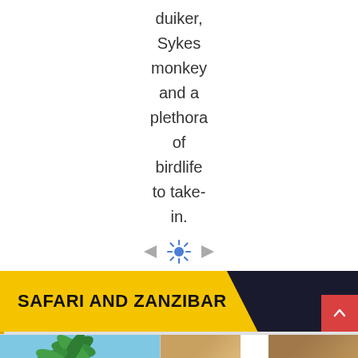duiker, Sykes monkey and a plethora of birdlife to take-in.
[Figure (infographic): Decorative divider with left and right arrows and a sun icon in the center]
SAFARI AND ZANZIBAR
[Figure (photo): Bottom image strip showing palm trees on the left and sandy/desert landscape on the right with navigation arrows]